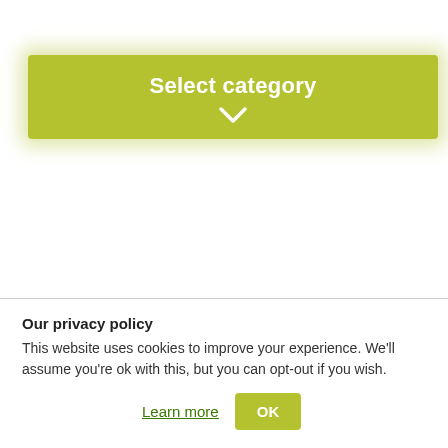[Figure (screenshot): A green olive/lime colored dropdown button labeled 'Select category' with a chevron/down arrow below the text, with a soft green glow/shadow effect around it]
Our privacy policy
This website uses cookies to improve your experience. We'll assume you're ok with this, but you can opt-out if you wish.
Learn more   OK